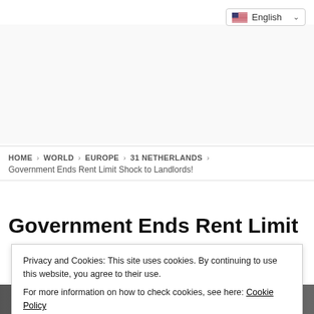[Figure (screenshot): English language selector dropdown button with US flag icon, top right corner]
HOME > WORLD > EUROPE > 31 NETHERLANDS > Government Ends Rent Limit Shock to Landlords!
Government Ends Rent Limit
Privacy and Cookies: This site uses cookies. By continuing to use this website, you agree to their use.
For more information on how to check cookies, see here: Cookie Policy
[Figure (photo): Partial photo strip at bottom of page, black and white or dark toned image]